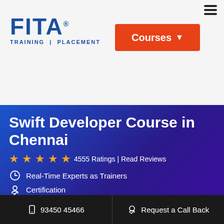[Figure (logo): FITA Training | Placement logo with blue text]
[Figure (other): Orange Courses button with dropdown arrow]
Swift Developer Course in Chennai
★★★★★ 4555 Ratings | Read Reviews
Real-Time Experts as Trainers
Certification
Flexibility
LIVE Project
Affordable Fees
📱 93450 45466    🎓 Request a Call Back